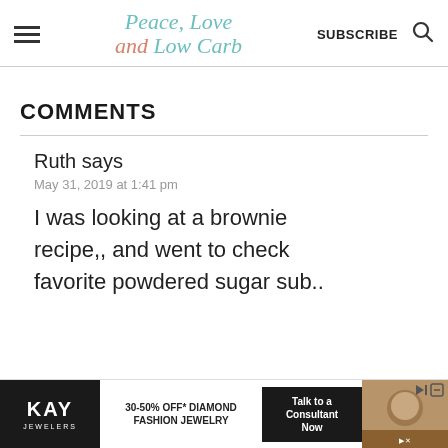Peace, Love and Low Carb — SUBSCRIBE
COMMENTS
Ruth says
May 31, 2019 at 1:41 pm
I was looking at a brownie recipe,, and went to check favorite powdered sugar sub..
[Figure (other): KAY Jewelers advertisement banner: 30-50% OFF* DIAMOND FASHION JEWELRY, Talk to a Consultant Now]